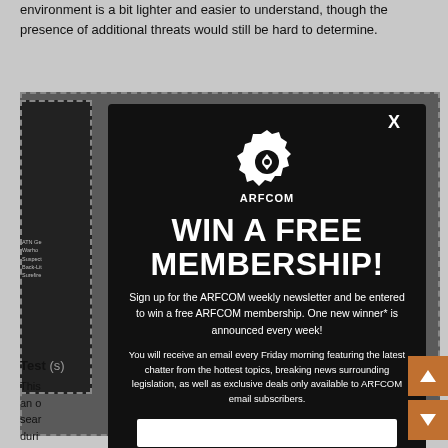environment is a bit lighter and easier to understand, though the presence of additional threats would still be hard to determine.
[Figure (screenshot): ARFCOM modal popup overlay on article page. Dark modal with ARFCOM gear logo, text 'WIN A FREE MEMBERSHIP!' and newsletter sign-up form. Background shows dashed-border image region with thumbnail strip on left side.]
Test (s)
This ... nt in
an o... g
sear...
duri...